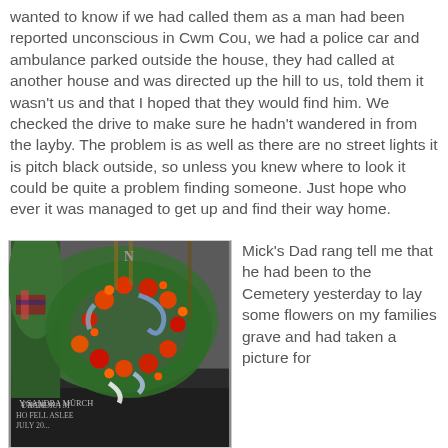wanted to know if we had called them as a man had been reported unconscious in Cwm Cou, we had a police car and ambulance parked outside the house, they had called at another house and was directed up the hill to us, told them it wasn't us and that I hoped that they would find him. We checked the drive to make sure he hadn't wandered in from the layby. The problem is as well as there are no street lights it is pitch black outside, so unless you knew where to look it could be quite a problem finding someone. Just hope who ever it was managed to get up and find their way home.
[Figure (photo): Photo of a floral wreath with red, orange, and green flowers with blue and white ribbons, placed on a gravestone. The gravestone reads 'Y SANDRA MORCH WHO FELL ASLEEP JULY 20...' There are also Christmas greens with a plaid bow visible to the left.]
Mick's Dad rang tell me that he had been to the Cemetery yesterday to lay some flowers on my families grave and had taken a picture for